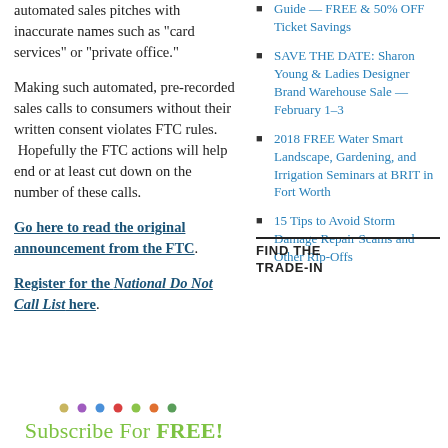automated sales pitches with inaccurate names such as “card services” or “private office.”
Making such automated, pre-recorded sales calls to consumers without their written consent violates FTC rules.  Hopefully the FTC actions will help end or at least cut down on the number of these calls.
Go here to read the original announcement from the FTC.
Register for the National Do Not Call List here.
Guide — FREE & 50% OFF Ticket Savings
SAVE THE DATE: Sharon Young & Ladies Designer Brand Warehouse Sale — February 1-3
2018 FREE Water Smart Landscape, Gardening, and Irrigation Seminars at BRIT in Fort Worth
15 Tips to Avoid Storm Damage Repair Scams and Other Rip-Offs
Subscribe For FREE!
FIND THE TRADE-IN